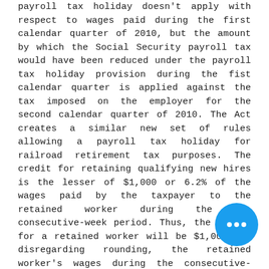payroll tax holiday doesn't apply with respect to wages paid during the first calendar quarter of 2010, but the amount by which the Social Security payroll tax would have been reduced under the payroll tax holiday provision during the fist calendar quarter is applied against the tax imposed on the employer for the second calendar quarter of 2010. The Act creates a similar new set of rules allowing a payroll tax holiday for railroad retirement tax purposes. The credit for retaining qualifying new hires is the lesser of $1,000 or 6.2% of the wages paid by the taxpayer to the retained worker during the 52-consecutive-week period. Thus, the credit for a retained worker will be $1,000 if, disregarding rounding, the retained worker's wages during the consecutive-week period exceed $16,129.03. However, the credit isn't